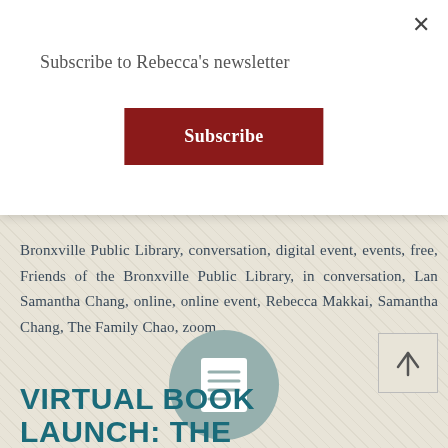Subscribe to Rebecca's newsletter
Subscribe
Bronxville Public Library, conversation, digital event, events, free, Friends of the Bronxville Public Library, in conversation, Lan Samantha Chang, online, online event, Rebecca Makkai, Samantha Chang, The Family Chao, zoom
[Figure (illustration): A circular teal/muted green icon containing a document/page symbol with horizontal lines representing text]
VIRTUAL BOOK LAUNCH: THE